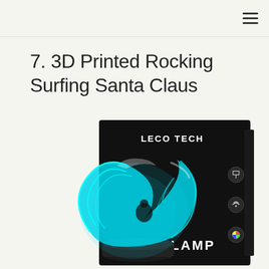☰
7. 3D Printed Rocking Surfing Santa Claus
[Figure (photo): Product photo of a LECO TECH 3D Lamp showing a glowing cyan wave/surfing scene lamp next to its black retail box. The box has 'LECO TECH' text at the top and '3D LAMP' text at the bottom, with three icons on the right side of the box.]